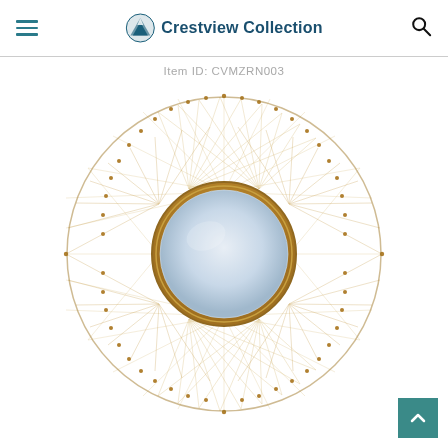Crestview Collection
Item ID: CVMZRN003
[Figure (photo): Round decorative wall mirror with an intricate gold sunburst wire mesh frame radiating outward from a central circular mirror, shown on a white background.]
Back to top button